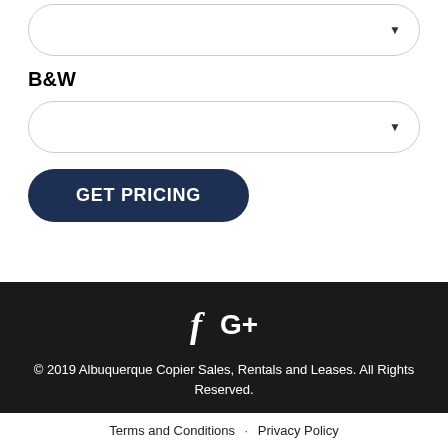[Figure (other): Dropdown select input box with arrow indicator (top, partially visible)]
B&W
[Figure (other): Dropdown select input box with arrow indicator]
GET PRICING
[Figure (other): Social media icons: Facebook (f) and Google Plus (G+)]
© 2019 Albuquerque Copier Sales, Rentals and Leases. All Rights Reserved.
Terms and Conditions · Privacy Policy